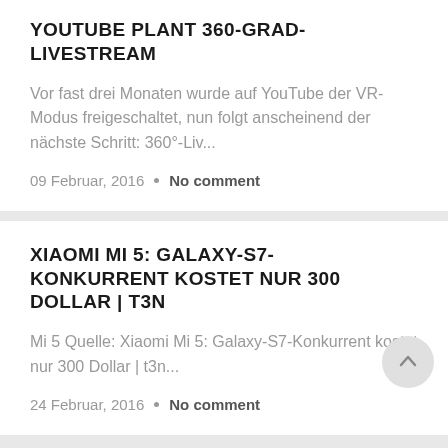YOUTUBE PLANT 360-GRAD-LIVESTREAM
Vor fast drei Monaten wurde auf YouTube der VR-Modus freigeschaltet, nun folgt anscheinend der nächste Schritt: 360°-Liv...
09 Februar, 2016 • No comment
XIAOMI MI 5: GALAXY-S7-KONKURRENT KOSTET NUR 300 DOLLAR | T3N
Mi 5 Quelle: Xiaomi Mi 5: Galaxy-S7-Konkurrent kostet nur 300 Dollar | t3n...
24 Februar, 2016 • No comment